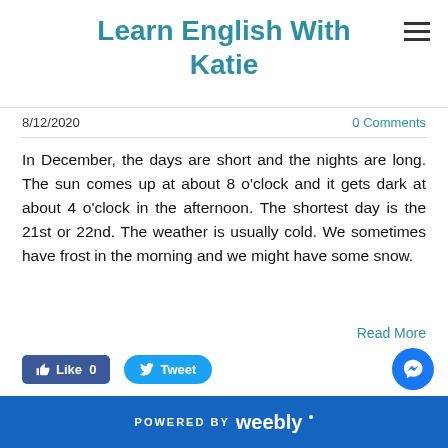Learn English With Katie
8/12/2020
0 Comments
In December, the days are short and the nights are long. The sun comes up at about 8 o'clock and it gets dark at about 4 o'clock in the afternoon. The shortest day is the 21st or 22nd. The weather is usually cold. We sometimes have frost in the morning and we might have some snow.
Read More
POWERED BY weebly